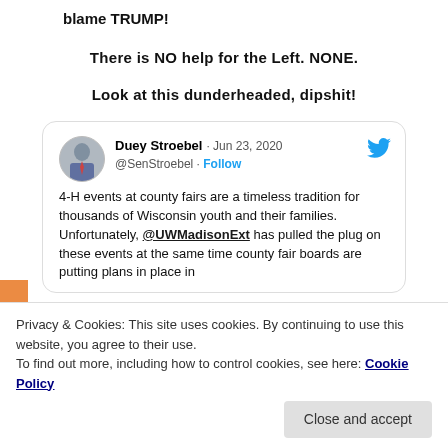blame TRUMP!
There is NO help for the Left. NONE.
Look at this dunderheaded, dipshit!
[Figure (screenshot): Embedded tweet from @SenStroebel (Duey Stroebel), dated Jun 23, 2020. Text: '4-H events at county fairs are a timeless tradition for thousands of Wisconsin youth and their families. Unfortunately, @UWMadisonExt has pulled the plug on these events at the same time county fair boards are putting plans in place in [continues below]']
Privacy & Cookies: This site uses cookies. By continuing to use this website, you agree to their use. To find out more, including how to control cookies, see here: Cookie Policy
Close and accept